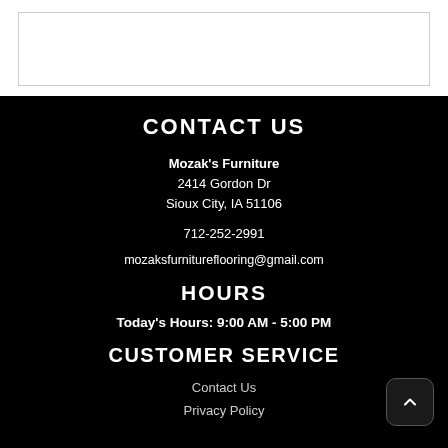[Figure (other): White box with border at top of page]
CONTACT US
Mozak's Furniture
2414 Gordon Dr
Sioux City, IA 51106
712-252-2991
mozaksfurnitureflooring@gmail.com
HOURS
Today's Hours: 9:00 AM - 5:00 PM
CUSTOMER SERVICE
Contact Us
Privacy Policy